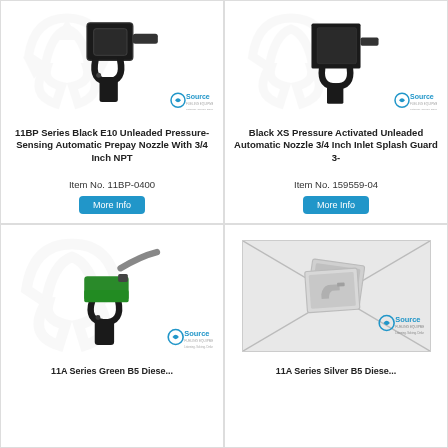[Figure (photo): Black fuel nozzle gun product image with Source branding watermark]
11BP Series Black E10 Unleaded Pressure-Sensing Automatic Prepay Nozzle With 3/4 Inch NPT
Item No. 11BP-0400
More Info
[Figure (photo): Black XS pressure nozzle product image with Source branding watermark]
Black XS Pressure Activated Unleaded Automatic Nozzle 3/4 Inch Inlet Splash Guard 3-
Item No. 159559-04
More Info
[Figure (photo): Green fuel nozzle with black handle, Source branding watermark background]
11A Series Green B5 Diese...
[Figure (photo): No image available placeholder with Source branding]
11A Series Silver B5 Diese...